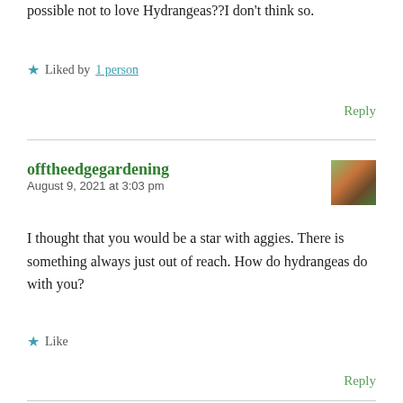possible not to love Hydrangeas??I don’t think so.
Liked by 1 person
Reply
offtheedgegardening
August 9, 2021 at 3:03 pm
I thought that you would be a star with aggies. There is something always just out of reach. How do hydrangeas do with you?
Like
Reply